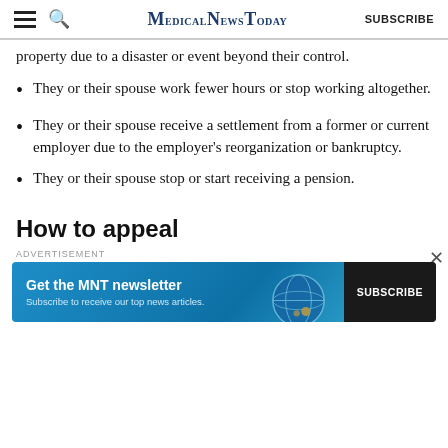MedicalNewsToday | SUBSCRIBE
property due to a disaster or event beyond their control.
They or their spouse work fewer hours or stop working altogether.
They or their spouse receive a settlement from a former or current employer due to the employer's reorganization or bankruptcy.
They or their spouse stop or start receiving a pension.
How to appeal
[Figure (screenshot): Advertisement banner for MNT newsletter with 'Get the MNT newsletter' text, 'Subscribe to receive our top news articles' subtext, and a SUBSCRIBE button on dark background. A globe illustration is visible on the right side of the banner.]